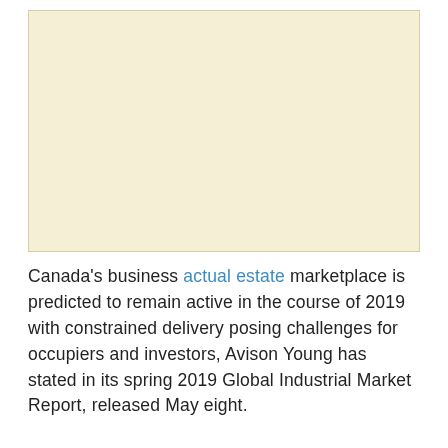[Figure (other): Large beige/cream colored rectangular area, likely an image placeholder]
Canada's business actual estate marketplace is predicted to remain active in the course of 2019 with constrained delivery posing challenges for occupiers and investors, Avison Young has stated in its spring 2019 Global Industrial Market Report, released May eight.